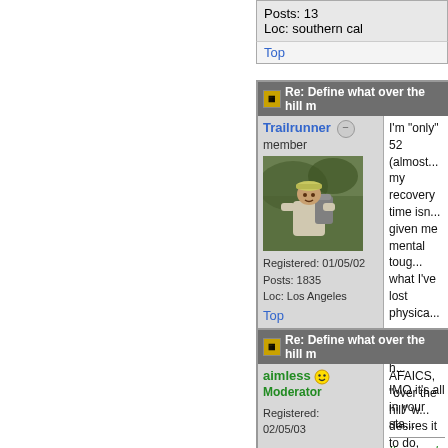Posts: 13
Loc: southern cal
Top
Re: Define what over the hill m
Trailrunner
member
Registered: 01/05/02
Posts: 1835
Loc: Los Angeles
I'm "only" 52 (almost... my recovery time isn... given me mental toug... what I've lost physica...

I'd sooner mow the h...

IMO it's all in your sta...

If you only travel on s...

* May not apply at ce...
Top
Re: Define what over the hill m
aimless
Moderator
Registered: 02/05/03
AFAICS, "over the hill" w... desires it to do, despite... proper shape.

Therefore, a pro athlete... than exceptionally supe...